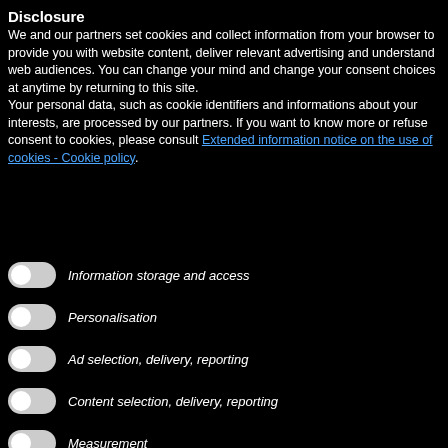Disclosure
We and our partners set cookies and collect information from your browser to provide you with website content, deliver relevant advertising and understand web audiences. You can change your mind and change your consent choices at anytime by returning to this site.
Your personal data, such as cookie identifiers and informations about your interests, are processed by our partners. If you want to know more or refuse consent to cookies, please consult Extended information notice on the use of cookies - Cookie policy.
Information storage and access
Personalisation
Ad selection, delivery, reporting
Content selection, delivery, reporting
Measurement
I agree
Reject
Manage preferences
[Figure (other): Payment card icons: Visa, Mastercard, Maestro, American Express, Discover, and one more]
JP 9,607  ID 4,419  DK
ES 9,550  CL 4,328  AT
Pageviews: 1,106,154